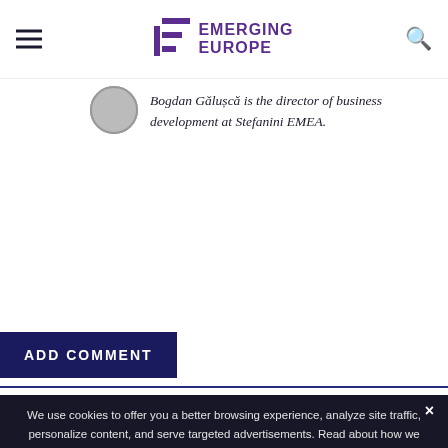EMERGING EUROPE
Bogdan Gălușcă is the director of business development at Stefanini EMEA.
ADD COMMENT
We use cookies to offer you a better browsing experience, analyze site traffic, personalize content, and serve targeted advertisements. Read about how we use cookies and how you can control them by clicking "Privacy Preferences". If you continue to use this site, you consent to our use of cookies. More...
LATEST STORIES